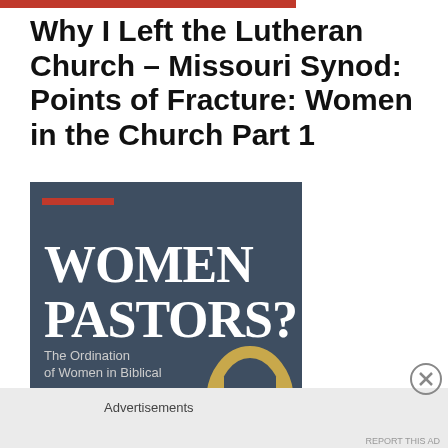Why I Left the Lutheran Church – Missouri Synod: Points of Fracture: Women in the Church Part 1
[Figure (photo): Book cover showing 'WOMEN PASTORS? The Ordination of Women in Biblical' text on a dark blue/grey textured background with a red accent bar at top and a partial image of a horseshoe or similar object at the bottom right.]
Advertisements